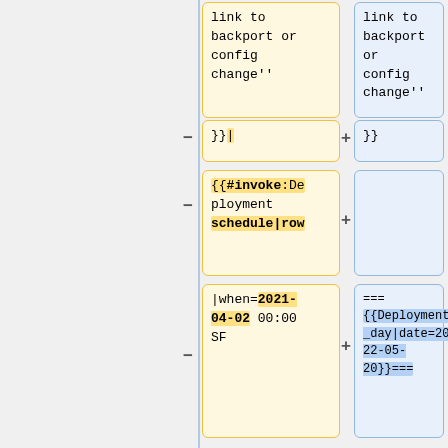[Figure (screenshot): Diff view showing two columns of code/wiki text boxes. Left column (yellow, removed) and right column (blue, added). Rows show: 'link to backport or config change\x27\x27' in both columns; '}}|' removed vs '}}' added; '{{#invoke:Deployment schedule|row' removed vs empty added; '|when=2021-04-02 00:00 SF' removed vs '===\n{{Deployment_day|date=2022-05-20}}===' added; empty left vs '{{Deployment calendar event card' added; empty left vs '|when=2022-' added.]